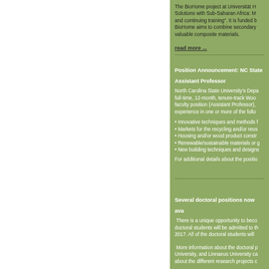The BioHome project at Universität H... Solutions with Sub-Saharan Africa: M... and continuing training". It is funded b... BioHome aims to combine secondary ... valuable composite materials.
read more ...
Position Announcement: NC State Assistant Professor
North Carolina State University's Depa... full-time, 12-month, tenure-track Woo... faculty position (Assistant Professor)... experience in one or more of the follo...
• Innovative techniques and methods f...
• Markets for the recycling and/or reus...
• Housing and/or wood product constr...
• Renewable/sustainable materials or g...
• New building techniques and designs...
For additional details about the positio...
Several doctoral positions now ava...
There is a unique opportunity to beco... doctoral students will be admitted to th... 2017. All of the doctoral students will ...
More information about the doctoral p... University, and Linnaeus University ca... about the different research projects c...